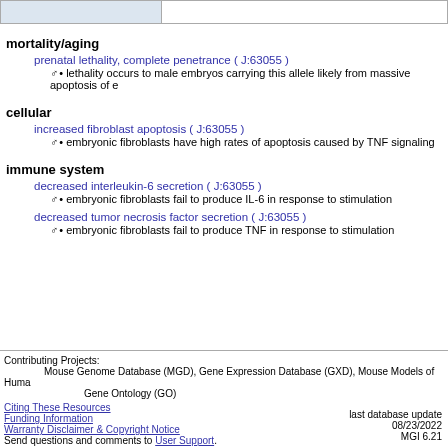mortality/aging
prenatal lethality, complete penetrance ( J:63055 )
♂ • lethality occurs to male embryos carrying this allele likely from massive apoptosis of e
cellular
increased fibroblast apoptosis ( J:63055 )
♂ • embryonic fibroblasts have high rates of apoptosis caused by TNF signaling
immune system
decreased interleukin-6 secretion ( J:63055 )
♂ • embryonic fibroblasts fail to produce IL-6 in response to stimulation
decreased tumor necrosis factor secretion ( J:63055 )
♂ • embryonic fibroblasts fail to produce TNF in response to stimulation
Contributing Projects:
  Mouse Genome Database (MGD), Gene Expression Database (GXD), Mouse Models of Huma
  Gene Ontology (GO)
Citing These Resources
Funding Information
Warranty Disclaimer & Copyright Notice
Send questions and comments to User Support.
last database update 08/23/2022 MGI 6.21